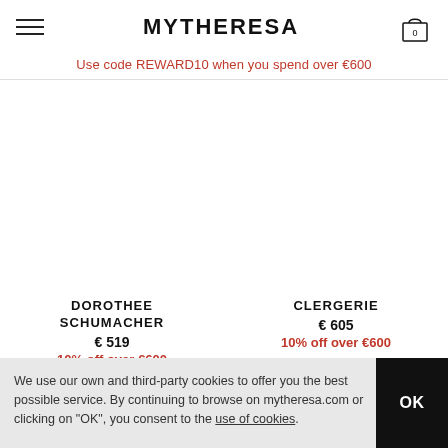MYTHERESA
Use code REWARD10 when you spend over €600
DOROTHEE SCHUMACHER
€ 519
10% off over €600
CLERGERIE
€ 605
10% off over €600
We use our own and third-party cookies to offer you the best possible service. By continuing to browse on mytheresa.com or clicking on "OK", you consent to the use of cookies.